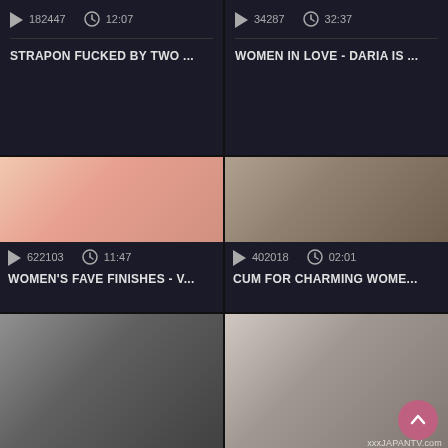[Figure (screenshot): Video thumbnail grid cell top-left: play count 182447, duration 12:07, title STRAPON FUCKED BY TWO ...]
[Figure (screenshot): Video thumbnail grid cell top-right: play count 34287, duration 32:37, title WOMEN IN LOVE - DARIA IS ...]
[Figure (photo): Middle-left video thumbnail showing close-up scene]
622103   11:47
WOMEN'S FAVE FINISHES - V...
[Figure (photo): Middle-right video thumbnail showing older woman]
402018   02:01
CUM FOR CHARMING WOME...
[Figure (photo): Bottom-left video thumbnail black and white vintage scene]
[Figure (photo): Bottom-right video thumbnail showing Asian woman smiling, with xxxJAPANTV.com watermark and scroll-up FAB button]